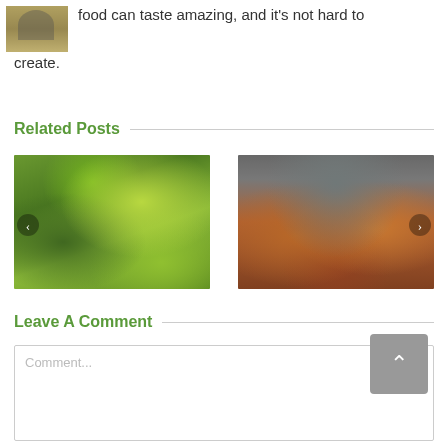[Figure (photo): Small photo of a person cooking or preparing food]
food can taste amazing, and it's not hard to create.
Related Posts
[Figure (photo): Green food dish with edamame and grains on rice cakes]
[Figure (photo): Stack of chocolate chip cookies on wooden surface against grey tile wall]
Leave A Comment
Comment...